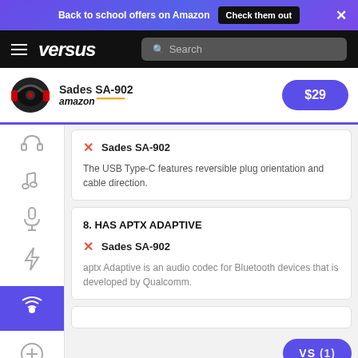Back to school offers on Amazon  Check them out  ×
versus  Search
Sades SA-902  amazon  $29
✗  Sades SA-902
The USB Type-C features reversible plug orientation and cable direction.
8. HAS APTX ADAPTIVE
✗  Sades SA-902
aptx Adaptive is an audio codec for Bluetooth devices that is developed by Qualcomm.
VS (1)